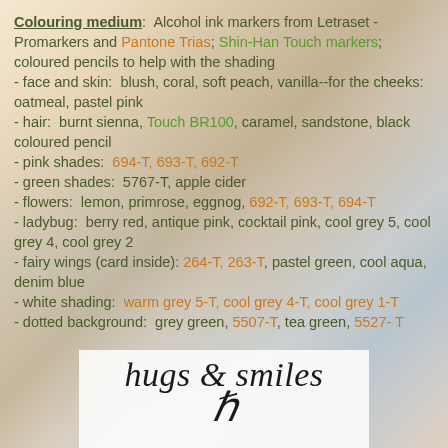Colouring medium: Alcohol ink markers from Letraset - Promarkers and Pantone Trias; Shin-Han Touch markers; coloured pencils to help with the shading
- face and skin: blush, coral, soft peach, vanilla--for the cheeks: oatmeal, pastel pink
- hair: burnt sienna, Touch BR100, caramel, sandstone, black coloured pencil
- pink shades: 694-T, 693-T, 692-T
- green shades: 5767-T, apple cider
- flowers: lemon, primrose, eggnog, 692-T, 693-T, 694-T
- ladybug: berry red, antique pink, cocktail pink, cool grey 5, cool grey 4, cool grey 2
- fairy wings (card inside): 264-T, 263-T, pastel green, cool aqua, denim blue
- white shading: warm grey 5-T, cool grey 4-T, cool grey 1-T
- dotted background: grey green, 5507-T, tea green, 5527-T
[Figure (illustration): Cursive signature reading 'hugs & smiles' on white background with partial letter below]